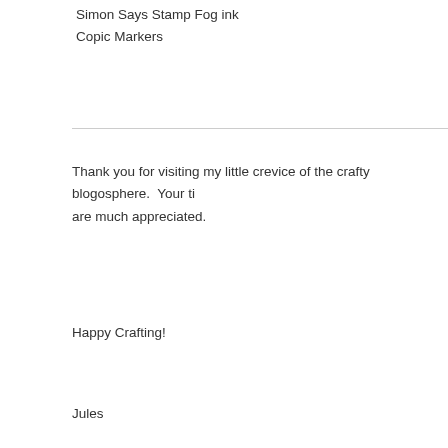Simon Says Stamp Fog ink
Copic Markers
Thank you for visiting my little crevice of the crafty blogosphere.  Your ti... are much appreciated.
Happy Crafting!
Jules
- February 12, 2020    6 comments:
Labels: SOSS
Tuesday, February 11, 2020
CAS Colours and Sketches #357